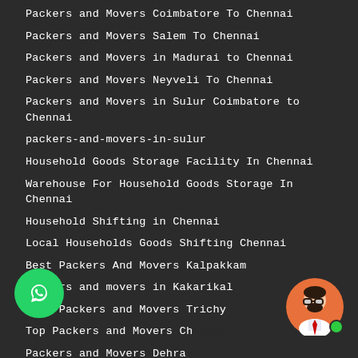Packers and Movers Coimbatore To Chennai
Packers and Movers Salem To Chennai
Packers and Movers in Madurai to Chennai
Packers and Movers Neyveli To Chennai
Packers and Movers in Sulur Coimbatore to Chennai
packers-and-movers-in-sulur
Household Goods Storage Facility In Chennai
Warehouse For Household Goods Storage In Chennai
Household Shifting in Chennai
Local Households Goods Shifting Chennai
Best Packers And Movers Kalpakkam
Packers and movers in Kakarikal
Best Packers and Movers Trichy
Top Packers and Movers Ch...
Packers and Movers Dehra...
Movers and Packers Dehra...
Goa Chennai Transport Ser...
Goa Kolkata Transport Service in Goa
...hi Transport Service in Goa
...erabad Transport Service in Goa
IBA Approved Packers and Movers Chennai
Indian Bank Approved Packers And Movers Chennai
Hi there! I am Steve from Paramount Packers and Movers